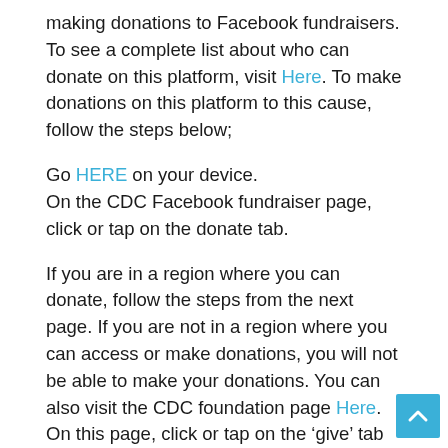making donations to Facebook fundraisers. To see a complete list about who can donate on this platform, visit Here. To make donations on this platform to this cause, follow the steps below;
Go HERE on your device.
On the CDC Facebook fundraiser page, click or tap on the donate tab.
If you are in a region where you can donate, follow the steps from the next page. If you are not in a region where you can access or make donations, you will not be able to make your donations. You can also visit the CDC foundation page Here. On this page, click or tap on the ‘give’ tab and follow the steps from the next page to make your donations.
There are no fees charged for making donations to charities on Facebook. Donations are often in the US and to